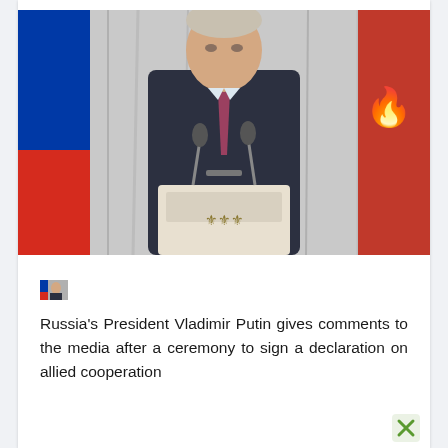[Figure (photo): Photo of Russia's President Vladimir Putin standing at a white podium with two microphones, wearing a dark suit and patterned tie. A Russian flag is visible on the left and a red flag with gold emblem on the right. Background shows grey curtains.]
[Figure (photo): Small thumbnail image of Vladimir Putin]
Russia's President Vladimir Putin gives comments to the media after a ceremony to sign a declaration on allied cooperation